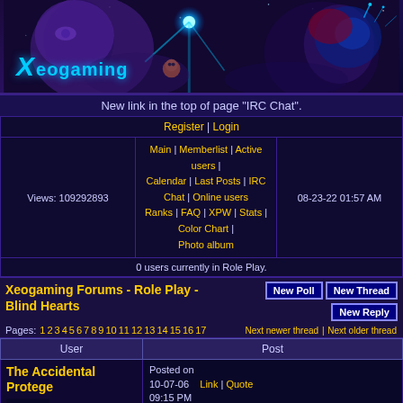[Figure (illustration): Xeogaming banner with sci-fi/fantasy artwork showing robot/alien faces, colorful cosmic background, and the Xeogaming logo in blue cyan text]
New link in the top of page "IRC Chat".
Register | Login
| Views: 109292893 | Main | Memberlist | Active users | Calendar | Last Posts | IRC Chat | Online users | Ranks | FAQ | XPW | Stats | Color Chart | Photo album | 08-23-22 01:57 AM |
| --- | --- | --- |
0 users currently in Role Play.
Xeogaming Forums - Role Play - Blind Hearts
Pages: 1 2 3 4 5 6 7 8 9 10 11 12 13 14 15 16 17   Next newer thread | Next older thread
| User | Post |
| --- | --- |
| The Accidental Protege
Iggy Koopa
I"m your accidental protege...
The gift, the blood, the thrownaway...\ | Posted on 10-07-06   Link | Quote   09:15 PM

Kevin stared intently at Francine. He knew something was up ever since Martin became a priest.

"Yeah. I just hope he doesn't do something like that again. Well, should we regroup, babe?" he asked |